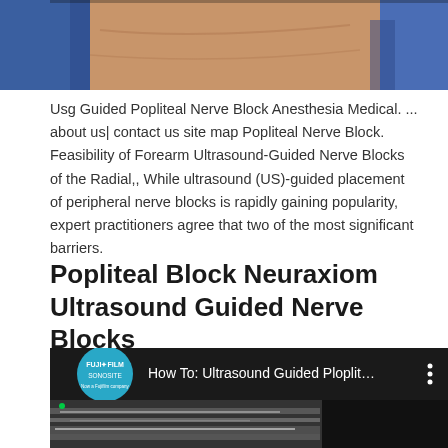[Figure (photo): Top partial image showing a medical/clinical scene with blue surgical drapes and skin visible, likely a nerve block procedure being performed.]
Usg Guided Popliteal Nerve Block Anesthesia Medical. ... about us| contact us site map Popliteal Nerve Block. Feasibility of Forearm Ultrasound-Guided Nerve Blocks of the Radial,, While ultrasound (US)-guided placement of peripheral nerve blocks is rapidly gaining popularity, expert practitioners agree that two of the most significant barriers.
Popliteal Block Neuraxiom Ultrasound Guided Nerve Blocks
[Figure (screenshot): Screenshot of a YouTube video thumbnail showing 'How To: Ultrasound Guided Ploplit...' with the Fujifilm Sonosite logo (teal circle) on the left, a three-dot menu icon on the right, and an ultrasound image of tissue layers visible below.]